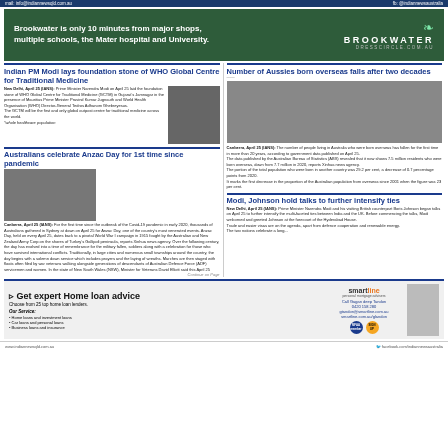mail: info@indiannewsqld.com.au | fb: @indiannewsaustralia
[Figure (illustration): Brookwater advertisement with green background. Text: Brookwater is only 10 minutes from major shops, multiple schools, the Mater hospital and University. Brand: BROOKWATER DRESSCIRCLE.COM.AU]
Indian PM Modi lays foundation stone of WHO Global Centre for Traditional Medicine
New Delhi, April 25 (IANS): Prime Minister Narendra Modi on April 25 laid the foundation stone of WHO Global Centre for Traditional Medicine (GCTM) in Gujarat's Jamnagar in the presence of Mauritius Prime Minister Pravind Kumar Jugnauth and World Health Organisation (WHO) Director-General Tedros Adhanom Ghebreyesus. The GCTM will be the first and only global outpost centre for traditional medicine across the world. *whole healthcare population
[Figure (photo): Photo of Indian PM Narendra Modi]
Number of Aussies born overseas falls after two decades
[Figure (photo): Photo of Sydney Opera House]
Canberra, April 25 (IANS): The number of people living in Australia who were born overseas has fallen for the first time in more than 20 years, according to government data published on April 25. The data published by the Australian Bureau of Statistics (ABS) revealed that it now shows 7.5 million residents who were born overseas, down from 7.7 million in 2020, reports Xinhua news agency. The portion of the total population who were born in another country was 29.2 per cent, a decrease of 0.7 percentage points from 2020. It marks the first decrease in the proportion of the Australian population from overseas since 2001 when the figure was 23 per cent.
Australians celebrate Anzac Day for 1st time since pandemic
[Figure (photo): Photo of Anzac Peace Park with crowd]
Canberra, April 25 (IANS): For the first time since the outbreak of the Covid-19 pandemic in early 2020, thousands of Australians gathered in Sydney at dawn on April 25 for Anzac Day, one of the country's most venerated events. Anzac Day, held on every April 25, dates back to a pivotal World War I campaign in 1915 fought by the Australian and New Zealand Army Corp on the shores of Turkey's Gallipoli peninsula, reports Xinhua news agency. Over the following century, the day has evolved into a time of remembrance for the military fallen, soldiers along with a celebration for those who have survived international conflicts. Traditionally, in large cities and numerous small townships around the country, the day begins with a solemn dawn service which includes prayers and the laying of wreaths. Marches are then staged with floats often filed by war veterans walking alongside generations of descendants of Australian Defence Force (ADF) servicemen and women. In the state of New South Wales (NSW), Minister for Veterans David Elliott said this April 25
Continue on Page
Modi, Johnson hold talks to further intensify ties
New Delhi, April 25 (IANS): Prime Minister Narendra Modi and his visiting British counterpart Boris Johnson began talks on April 25 to further intensify the multi-faceted ties between India and the UK. Before commencing the talks, Modi welcomed and greeted Johnson at the forecourt of the Hyderabad House. Trade and easier visas are on the agenda, apart from defence cooperation and renewable energy. The two nations celebrate a long...
[Figure (illustration): Smartline advertisement: Get expert Home loan advice. Choose from 25 top home loan lenders. Our Service: Home loans and investment loans, Car loans and personal loans, Business loans and insurance. Call Gagan deep Tandon 0420 158 280 gtandon@smartline.com.au smartline.com.au/glandon]
www.indiannewsqld.com.au | facebook.com/indiannewsaustralia